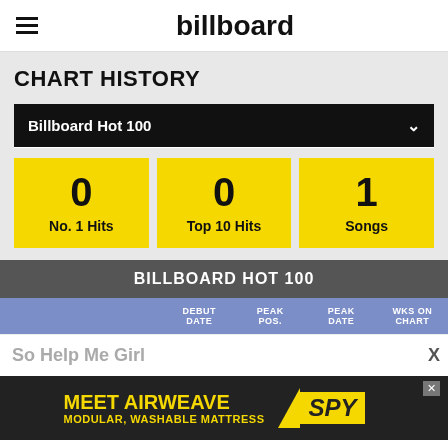billboard
CHART HISTORY
Billboard Hot 100
0 No. 1 Hits
0 Top 10 Hits
1 Songs
BILLBOARD HOT 100
| DEBUT DATE | PEAK POS. | PEAK DATE | WKS ON CHART |
| --- | --- | --- | --- |
So Help Me Girl
MEET AIRWEAVE MODULAR, WASHABLE MATTRESS /SPY